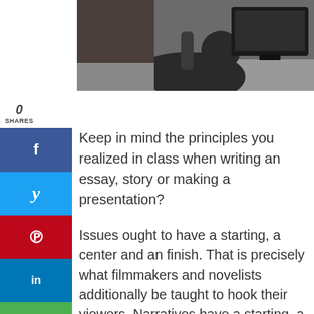[Figure (illustration): Illustration of a person sitting at a desk with a computer monitor, dark-toned graphic style]
0
SHARES
Keep in mind the principles you realized in class when writing an essay, story or making a presentation?
Issues ought to have a starting, a center and an finish. That is precisely what filmmakers and novelists additionally be taught to hook their viewers. Narratives have a starting, a center and an finish.
Our brains anticipate this sample and when it's lacking, one thing feels off. It feels unsatisfying.